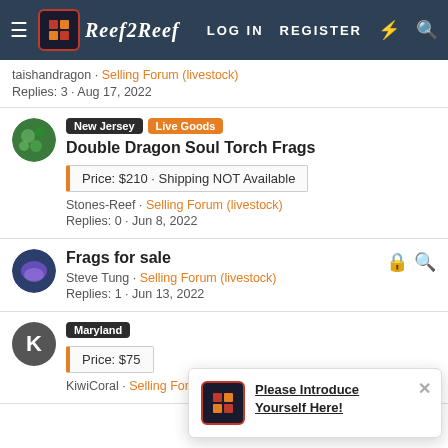Reef2Reef — LOG IN  REGISTER
taishandragon · Selling Forum (livestock)
Replies: 3 · Aug 17, 2022
Double Dragon Soul Torch Frags
Price: $210 · Shipping NOT Available
Stones-Reef · Selling Forum (livestock)
Replies: 0 · Jun 8, 2022
Frags for sale
Steve Tung · Selling Forum (livestock)
Replies: 1 · Jun 13, 2022
Maryland
Price: $75
KiwiCoral · Selling Forum (livestock)
Please Introduce Yourself Here!